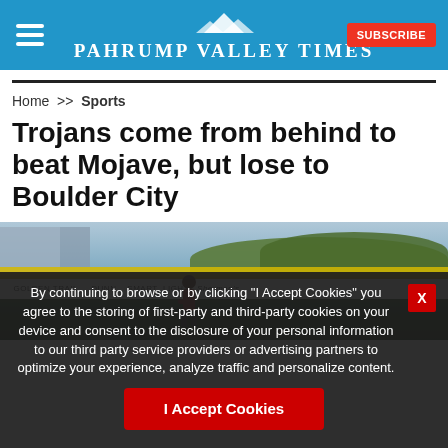Pahrump Valley Times — SUBSCRIBE
Home >> Sports
Trojans come from behind to beat Mojave, but lose to Boulder City
[Figure (photo): Baseball player on field with yellow fence and sponsor banners in background, green trees behind outfield wall]
By continuing to browse or by clicking “I Accept Cookies” you agree to the storing of first-party and third-party cookies on your device and consent to the disclosure of your personal information to our third party service providers or advertising partners to optimize your experience, analyze traffic and personalize content.